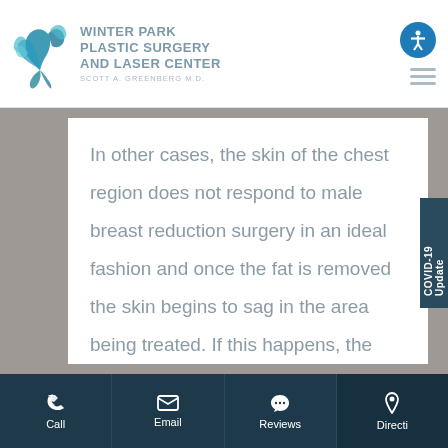[Figure (logo): Winter Park Plastic Surgery and Laser Center logo with stylized bird and text. Scott A. Greenberg M.D.]
In other cases, the skin of the chest region does not respond to male breast reduction surgery in an ideal fashion and once the fat is removed the skin begins to sag in the area being treated. If this happens, the procedure will also include treatment to remove the excess skin and tighten and re-shape what remains.
Call | Email | Reviews | Directions